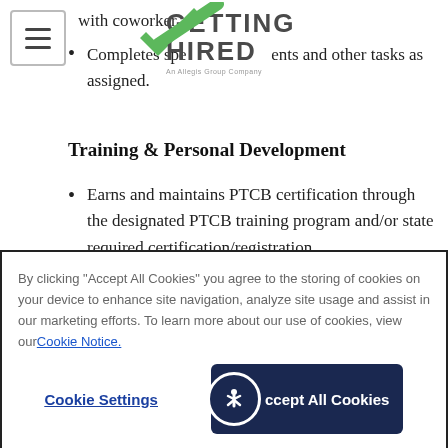[Figure (logo): Getting Hired logo - An Allegis Group Company]
Completes special assignments and other tasks as assigned.
Training & Personal Development
Earns and maintains PTCB certification through the designated PTCB training program and/or state required certification/registration.
Attends training and completes PPLs requested by Manager or assigned by
By clicking “Accept All Cookies” you agree to the storing of cookies on your device to enhance site navigation, analyze site usage and assist in our marketing efforts. To learn more about our use of cookies, view our Cookie Notice.
Cookie Settings
Accept All Cookies